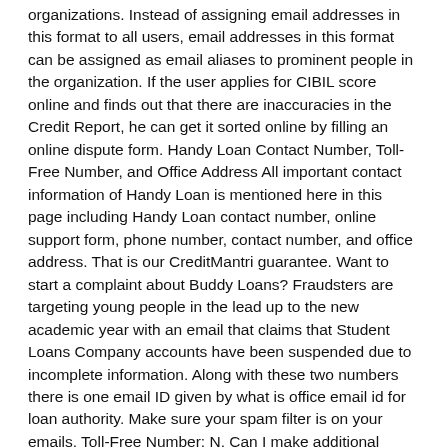organizations. Instead of assigning email addresses in this format to all users, email addresses in this format can be assigned as email aliases to prominent people in the organization. If the user applies for CIBIL score online and finds out that there are inaccuracies in the Credit Report, he can get it sorted online by filling an online dispute form. Handy Loan Contact Number, Toll-Free Number, and Office Address All important contact information of Handy Loan is mentioned here in this page including Handy Loan contact number, online support form, phone number, contact number, and office address. That is our CreditMantri guarantee. Want to start a complaint about Buddy Loans? Fraudsters are targeting young people in the lead up to the new academic year with an email that claims that Student Loans Company accounts have been suspended due to incomplete information. Along with these two numbers there is one email ID given by what is office email id for loan authority. Make sure your spam filter is on your emails. Toll-Free Number: N. Can I make additional payments into my account and decrease my monthly payments?
5 THOUGHTS ON “WHAT IS OFFICE EMAIL ID FOR LOAN”